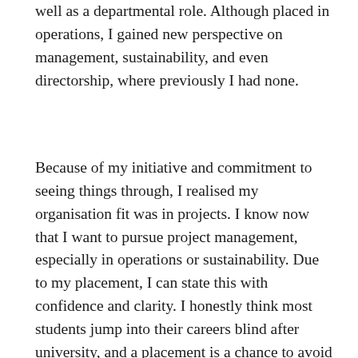well as a departmental role. Although placed in operations, I gained new perspective on management, sustainability, and even directorship, where previously I had none.
Because of my initiative and commitment to seeing things through, I realised my organisation fit was in projects. I know now that I want to pursue project management, especially in operations or sustainability. Due to my placement, I can state this with confidence and clarity. I honestly think most students jump into their careers blind after university, and a placement is a chance to avoid this.